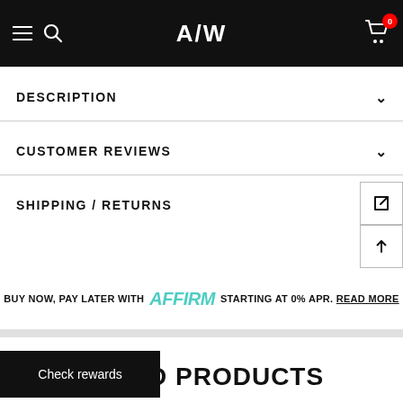A/W
DESCRIPTION
CUSTOMER REVIEWS
SHIPPING / RETURNS
BUY NOW, PAY LATER WITH Affirm STARTING AT 0% APR. READ MORE
RELATED PRODUCTS